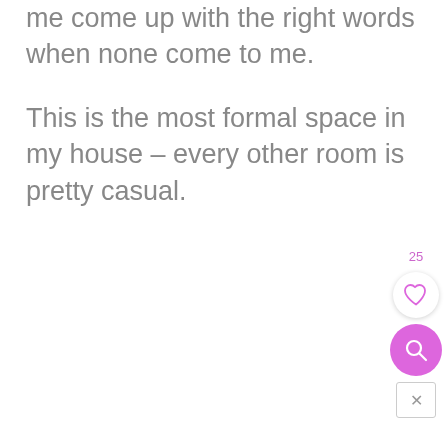me come up with the right words when none come to me.
This is the most formal space in my house – every other room is pretty casual.
[Figure (other): UI overlay elements: a pink count label '25', a white circular heart/like button, a pink circular search button, and a white close button with an X]